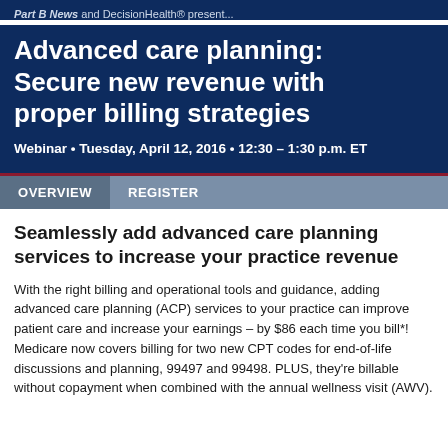Part B News and DecisionHealth® present...
Advanced care planning: Secure new revenue with proper billing strategies
Webinar • Tuesday, April 12, 2016 • 12:30 – 1:30 p.m. ET
OVERVIEW   REGISTER
Seamlessly add advanced care planning services to increase your practice revenue
With the right billing and operational tools and guidance, adding advanced care planning (ACP) services to your practice can improve patient care and increase your earnings – by $86 each time you bill*! Medicare now covers billing for two new CPT codes for end-of-life discussions and planning, 99497 and 99498. PLUS, they're billable without copayment when combined with the annual wellness visit (AWV).